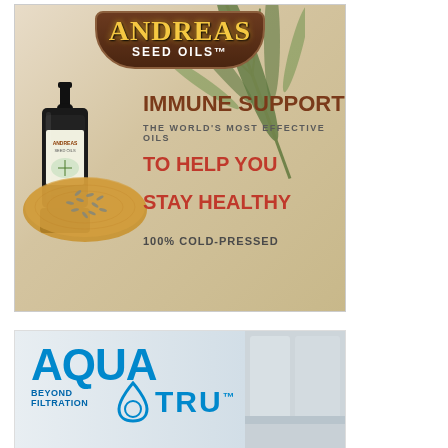[Figure (illustration): Andreas Seed Oils advertisement showing a dark dropper bottle with seeds on a wooden board, palm leaves in background. Text reads: ANDREAS SEED OILS, IMMUNE SUPPORT, THE WORLD'S MOST EFFECTIVE OILS, TO HELP YOU STAY HEALTHY, 100% COLD-PRESSED]
[Figure (illustration): Aqua Tru water filter advertisement with logo showing AQUA TRU with water drop icon, tagline BEYOND FILTRATION, with bathroom background on right side]